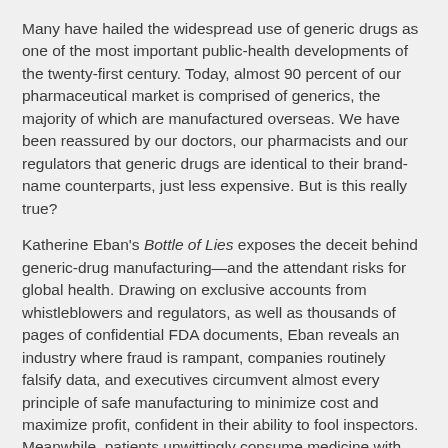Many have hailed the widespread use of generic drugs as one of the most important public-health developments of the twenty-first century. Today, almost 90 percent of our pharmaceutical market is comprised of generics, the majority of which are manufactured overseas. We have been reassured by our doctors, our pharmacists and our regulators that generic drugs are identical to their brand-name counterparts, just less expensive. But is this really true?
Katherine Eban's Bottle of Lies exposes the deceit behind generic-drug manufacturing—and the attendant risks for global health. Drawing on exclusive accounts from whistleblowers and regulators, as well as thousands of pages of confidential FDA documents, Eban reveals an industry where fraud is rampant, companies routinely falsify data, and executives circumvent almost every principle of safe manufacturing to minimize cost and maximize profit, confident in their ability to fool inspectors. Meanwhile, patients unwittingly consume medicine with unpredictable and dangerous effects.
The story of generic drugs is truly global. It connects middle America to China, India, sub-Saharan Africa and Brazil, and represents the ultimate litmus test of globalization: what are the risks of moving drug manufacturing offshore, and are they worth the savings?